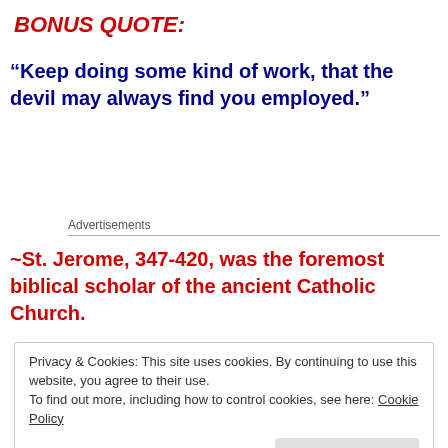BONUS QUOTE:
“Keep doing some kind of work, that the devil may always find you employed.”
Advertisements
~St. Jerome, 347-420, was the foremost biblical scholar of the ancient Catholic Church.
Privacy & Cookies: This site uses cookies. By continuing to use this website, you agree to their use.
To find out more, including how to control cookies, see here: Cookie Policy
Close and accept